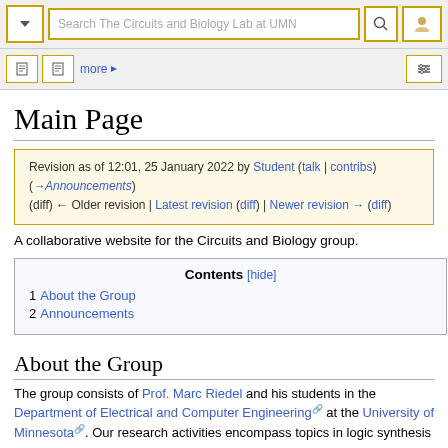[Figure (screenshot): Wiki-style navigation bar with search field reading 'Search The Circuits and Biology Lab at UMN', a dropdown button, search icon, and user icon, all with gold borders]
[Figure (screenshot): Tab bar with two page-icon tabs, a 'more' link with arrow, and a tools icon on the right]
Main Page
Revision as of 12:01, 25 January 2022 by Student (talk | contribs) (→Announcements) (diff) ← Older revision | Latest revision (diff) | Newer revision → (diff)
A collaborative website for the Circuits and Biology group.
Contents [hide]
1 About the Group
2 Announcements
About the Group
The group consists of Prof. Marc Riedel and his students in the Department of Electrical and Computer Engineering at the University of Minnesota. Our research activities encompass topics in logic synthesis and verification, as well as in synthetic and computational biology. A broad